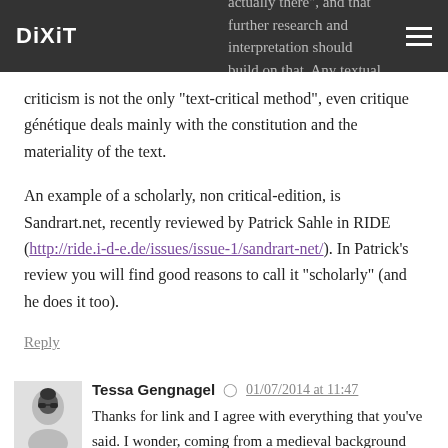DiXiT
actually there", and that further research and interpretation should build on that. Any textual criticism is not the only “text-critical method”, even critique génétique deals mainly with the constitution and the materiality of the text.
An example of a scholarly, non critical-edition, is Sandrart.net, recently reviewed by Patrick Sahle in RIDE (http://ride.i-d-e.de/issues/issue-1/sandrart-net/). In Patrick’s review you will find good reasons to call it “scholarly” (and he does it too).
Reply
Tessa Gengnagel 01/07/2014 at 11:47
Thanks for link and I agree with everything that you’ve said. I wonder, coming from a medieval background where textual criticism (entailing all text-critical methods, as I always take the term) is a crucial way to look at the transmission, whether this focus